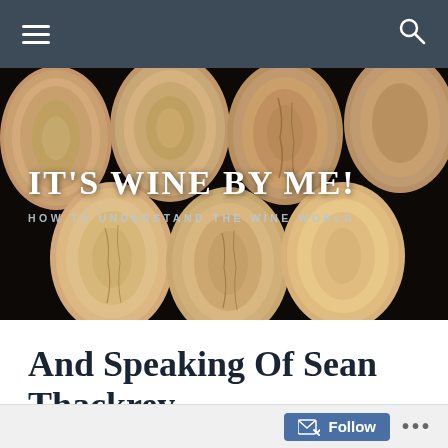Navigation bar with hamburger menu and search icon
[Figure (photo): Close-up photo of wine corks from above, filling the hero banner area. Corks show natural wood texture and branded markings. Dark background between corks.]
IT'S WINE BY ME!
HOW TO UNDERSTAND THE WINE WORLD
And Speaking Of Sean Thackrey...
July 30, 2015   itswinebyme
Follow ...